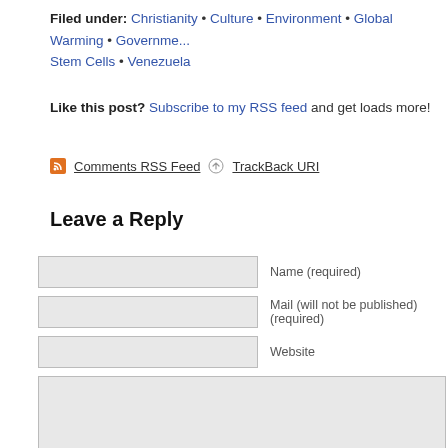Filed under: Christianity • Culture • Environment • Global Warming • Government • Stem Cells • Venezuela
Like this post? Subscribe to my RSS feed and get loads more!
Comments RSS Feed   TrackBack URI
Leave a Reply
Name (required)
Mail (will not be published) (required)
Website